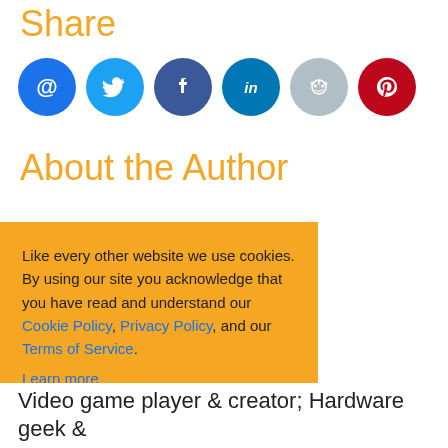Share
[Figure (illustration): Row of social sharing icon circles: email (@), Twitter bird, Facebook f, LinkedIn in, Reddit alien, Pinterest P]
About the Author
Like every other website we use cookies. By using our site you acknowledge that you have read and understand our Cookie Policy, Privacy Policy, and our Terms of Service. Learn more
Ask me later | Decline | Allow cookies
Video game player & creator; Hardware geek &